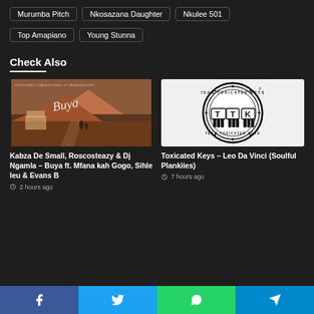Murumba Pitch
Nkosazana Daughter
Nkulee 501
Top Amapiano
Young Stunna
Check Also
[Figure (photo): Album cover for Buya featuring mountain/desert landscape with people walking, brownish tones with script text 'Buya']
Kabza De Small, Roscosteazy & Dj Ngamla – Buya ft. Mfana kah Gogo, Sihle leu & Evans B
2 hours ago
[Figure (logo): Team Toxicated Keys circular logo with TTK text and piano keys graphic, black and white]
Toxicated Keys – Leo Da Vinci (Soulful Plankiies)
7 hours ago
Facebook | Twitter | WhatsApp | Telegram